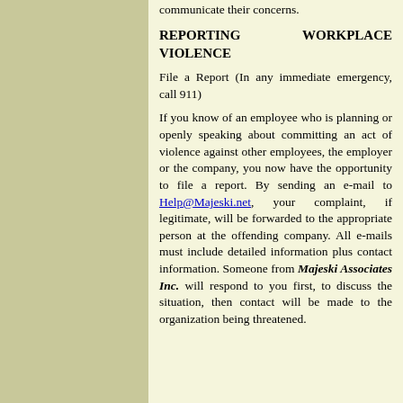communicate their concerns.
REPORTING WORKPLACE VIOLENCE
File a Report (In any immediate emergency, call 911)
If you know of an employee who is planning or openly speaking about committing an act of violence against other employees, the employer or the company, you now have the opportunity to file a report. By sending an e-mail to Help@Majeski.net, your complaint, if legitimate, will be forwarded to the appropriate person at the offending company. All e-mails must include detailed information plus contact information. Someone from Majeski Associates Inc. will respond to you first, to discuss the situation, then contact will be made to the organization being threatened.